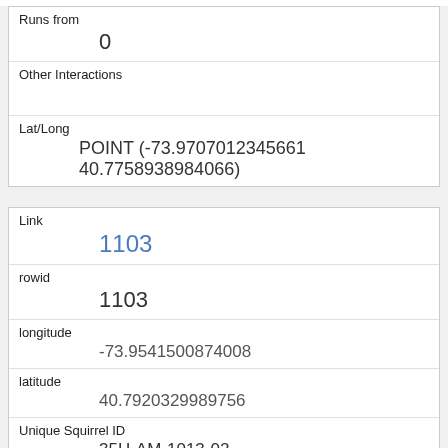| Runs from | 0 |
| Other Interactions |  |
| Lat/Long | POINT (-73.9707012345661 40.7758938984066) |
| Link | 1103 |
| rowid | 1103 |
| longitude | -73.9541500874008 |
| latitude | 40.7920329989756 |
| Unique Squirrel ID | 35H-AM-1013-02 |
| Hectare | 35H |
| Shift | AM |